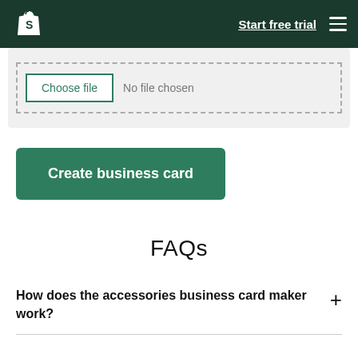Shopify — Start free trial
[Figure (screenshot): File upload input area with a 'Choose file' button and 'No file chosen' text inside a dashed border box on a light grey background]
Create business card
FAQs
How does the accessories business card maker work?